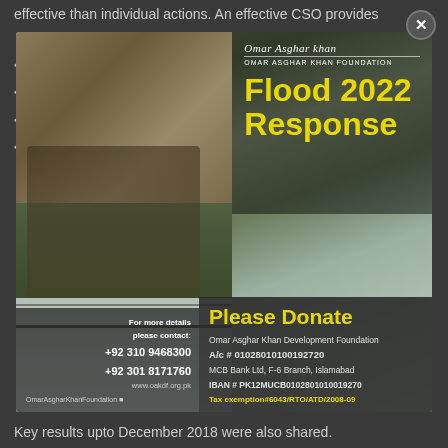effective than individual actions. An effective CSO provides
[Figure (infographic): Omar Asghar Khan Foundation Flood 2022 Response donation appeal flyer overlaid on a photo of two people crossing a rope bridge over a flooded river in a mountainous area. Contains donation bank details: Omar Asghar Khan Development Foundation, A/c # 01028010100192720, MCB Bank Ltd, F-6 Branch, Islamabad, IBAN # PK12MUCB0102801010019270, Tax exemption#6043/RTO/ATD/2008-09. Contact: +92 310 9468300, +92 301 8171760, www.oakdf.org.pk, OmarAsgharKhanFoundation.]
Key results upto December 2018 were also shared.